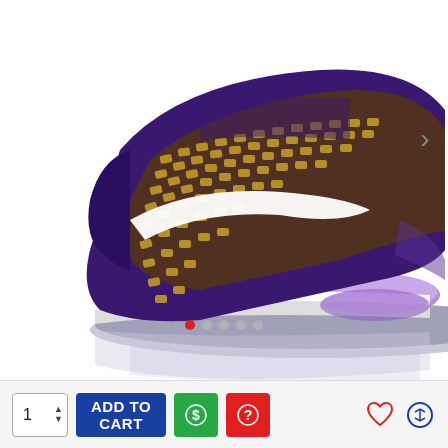[Figure (photo): Nike LeBron 17 sneaker in purple and gold colorway, shown from side profile with reflection, on white background]
DESCRIPTION
Nike LeBron 17 BQ3177-920 Purple Black - BQ3177-920 - Nike LeBron 17
REVIEWS